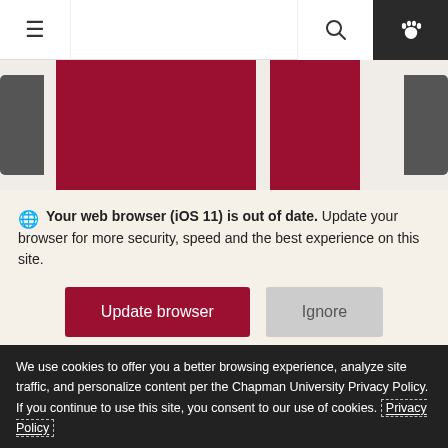≡  [search] [paw]
[Figure (screenshot): Navigation bar with hamburger menu, search icon, and dark paw icon on right. Below are red maroon rectangular banners partially visible.]
🌐 Your web browser (iOS 11) is out of date. Update your browser for more security, speed and the best experience on this site.
Update browser   Ignore
Tabula Poetica
Join us for live-streaming of all our
We use cookies to offer you a better browsing experience, analyze site traffic, and personalize content per the Chapman University Privacy Policy. If you continue to use this site, you consent to our use of cookies. Privacy Policy